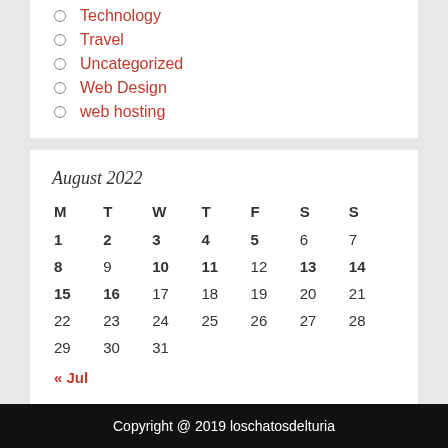Technology
Travel
Uncategorized
Web Design
web hosting
| M | T | W | T | F | S | S |
| --- | --- | --- | --- | --- | --- | --- |
| 1 | 2 | 3 | 4 | 5 | 6 | 7 |
| 8 | 9 | 10 | 11 | 12 | 13 | 14 |
| 15 | 16 | 17 | 18 | 19 | 20 | 21 |
| 22 | 23 | 24 | 25 | 26 | 27 | 28 |
| 29 | 30 | 31 |  |  |  |  |
Copyright @ 2019 loschatosdelturia